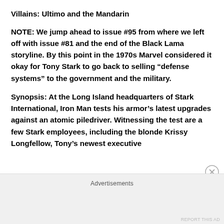Villains: Ultimo and the Mandarin
NOTE: We jump ahead to issue #95 from where we left off with issue #81 and the end of the Black Lama storyline. By this point in the 1970s Marvel considered it okay for Tony Stark to go back to selling “defense systems” to the government and the military.
Synopsis: At the Long Island headquarters of Stark International, Iron Man tests his armor’s latest upgrades against an atomic piledriver. Witnessing the test are a few Stark employees, including the blonde Krissy Longfellow, Tony’s newest executive
Advertisements